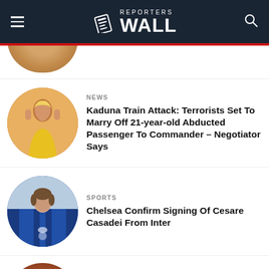REPORTERS WALL
[Figure (photo): Cropped photo of person, partially visible at top]
NEWS
Kaduna Train Attack: Terrorists Set To Marry Off 21-year-old Abducted Passenger To Commander – Negotiator Says
[Figure (photo): Circular portrait photo of woman in yellow outfit]
SPORTS
Chelsea Confirm Signing Of Cesare Casadei From Inter
[Figure (photo): Circular portrait photo of footballer in Inter Milan blue and black jersey]
NEWS
[Figure (photo): Partial circular photo of person, only top of head visible at bottom of page]